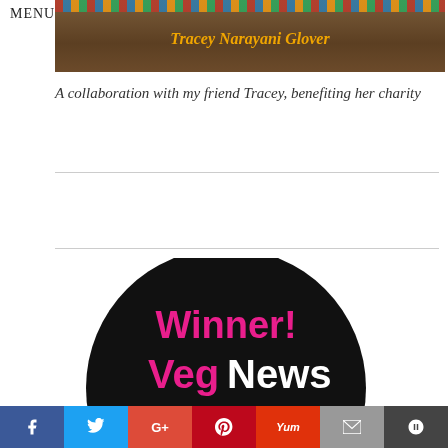MENU
[Figure (illustration): A decorative banner image with a wooden/brown background featuring the name 'Tracey Narayani Glover' in golden/orange italic text, with colorful decorative borders at top and bottom.]
A collaboration with my friend Tracey, benefiting her charity
[Figure (logo): A circular black badge/award logo with the text 'Winner!' in magenta/pink bold font, 'VegNews' in white and magenta bold font, and 'BLOGGY' partially visible at the bottom in white outline text.]
Social sharing bar with icons: Facebook, Twitter, Google+, Pinterest, Yummly, Email, Bloglovin